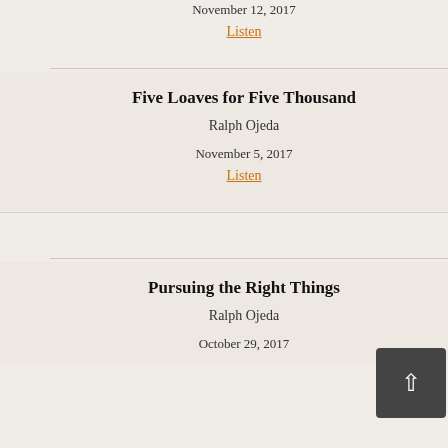November 12, 2017
Listen
Five Loaves for Five Thousand
Ralph Ojeda
November 5, 2017
Listen
Pursuing the Right Things
Ralph Ojeda
October 29, 2017